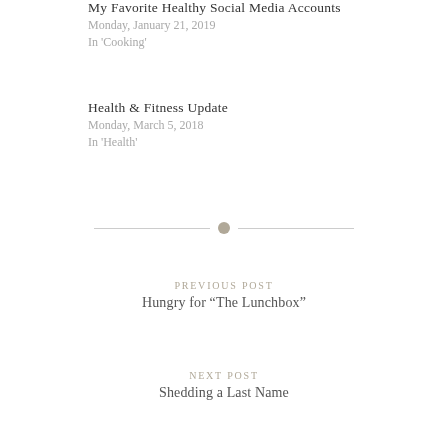My Favorite Healthy Social Media Accounts
Monday, January 21, 2019
In 'Cooking'
Health & Fitness Update
Monday, March 5, 2018
In 'Health'
PREVIOUS POST
Hungry for “The Lunchbox”
NEXT POST
Shedding a Last Name